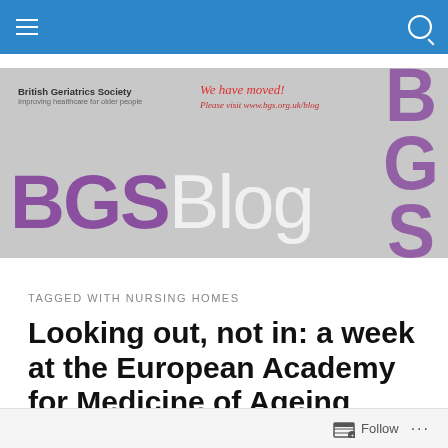BGSBlog navigation bar
[Figure (logo): BGSBlog banner with British Geriatrics Society logo, 'We have moved! Please visit www.bgs.org.uk/blog' text in red, large BGSBlog wordmark in purple and grey, and BGS logo watermark in purple on the right.]
TAGGED WITH NURSING HOMES
Looking out, not in: a week at the European Academy for Medicine of Ageing
Follow